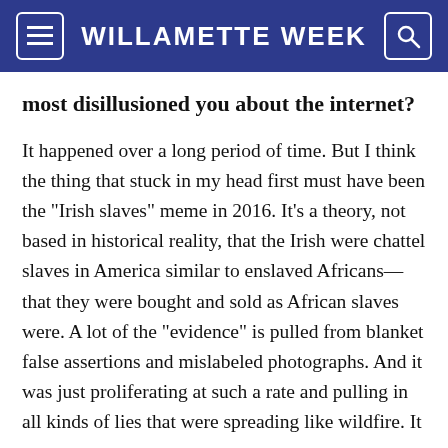WILLAMETTE WEEK
most disillusioned you about the internet?
It happened over a long period of time. But I think the thing that stuck in my head first must have been the "Irish slaves" meme in 2016. It's a theory, not based in historical reality, that the Irish were chattel slaves in America similar to enslaved Africans—that they were bought and sold as African slaves were. A lot of the "evidence" is pulled from blanket false assertions and mislabeled photographs. And it was just proliferating at such a rate and pulling in all kinds of lies that were spreading like wildfire. It was so